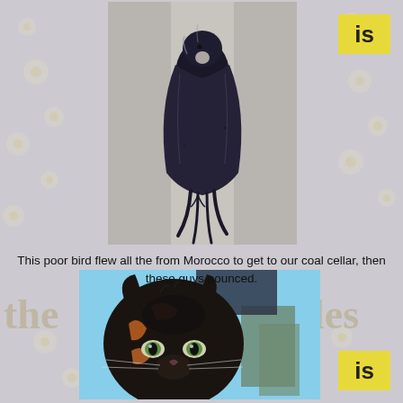[Figure (photo): Top-down view of a dead swift bird lying on a light surface, wings folded along its body, dark blue-black plumage]
This poor bird flew all the from Morocco to get to our coal cellar, then these guys pounced.
[Figure (photo): Close-up face of a tortoiseshell cat with green eyes, dark fur with orange patches, looking at the camera]